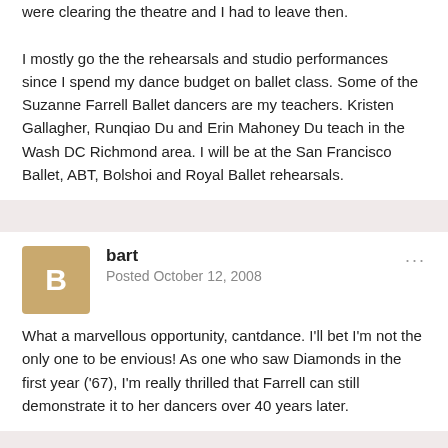were clearing the theatre and I had to leave then.

I mostly go the the rehearsals and studio performances since I spend my dance budget on ballet class. Some of the Suzanne Farrell Ballet dancers are my teachers. Kristen Gallagher, Runqiao Du and Erin Mahoney Du teach in the Wash DC Richmond area. I will be at the San Francisco Ballet, ABT, Bolshoi and Royal Ballet rehearsals.
bart
Posted October 12, 2008
What a marvellous opportunity, cantdance. I'll bet I'm not the only one to be envious! As one who saw Diamonds in the first year ('67), I'm really thrilled that Farrell can still demonstrate it to her dancers over 40 years later.
Classic_Ballet
Posted October 22, 2008